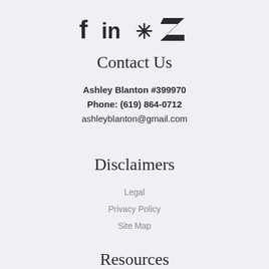[Figure (logo): Social media icons: Facebook, LinkedIn, Yelp, Zillow]
Contact Us
Ashley Blanton #399970
Phone: (619) 864-0712
ashleyblanton@gmail.com
Disclaimers
Legal
Privacy Policy
Site Map
Resources